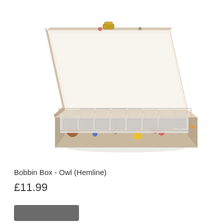[Figure (photo): An open bobbin box with a floral/owl pattern fabric exterior. The box is rectangular, open at an angle showing the inside lid (cream/white) and a clear plastic bobbin tray with multiple compartments arranged in rows. The exterior fabric features colorful illustrations including owls, tropical leaves, fruit, and flowers on a light beige background. A gold-colored clasp is visible at the top.]
Bobbin Box - Owl (Hemline)
£11.99